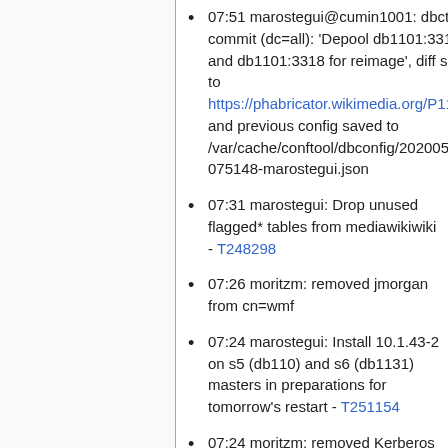07:51 marostegui@cumin1001: dbctl commit (dc=all): 'Depool db1101:3317 and db1101:3318 for reimage', diff saved to https://phabricator.wikimedia.org/P11113 and previous config saved to /var/cache/conftool/dbconfig/20200504-075148-marostegui.json
07:31 marostegui: Drop unused flagged* tables from mediawikiwiki - T248298
07:26 moritzm: removed jmorgan from cn=wmf
07:24 marostegui: Install 10.1.43-2 on s5 (db110) and s6 (db1131) masters in preparations for tomorrow's restart - T251154
07:24 moritzm: removed Kerberos principal for lexnasser and jmorgan
07:23 moritzm: removed lexnasser